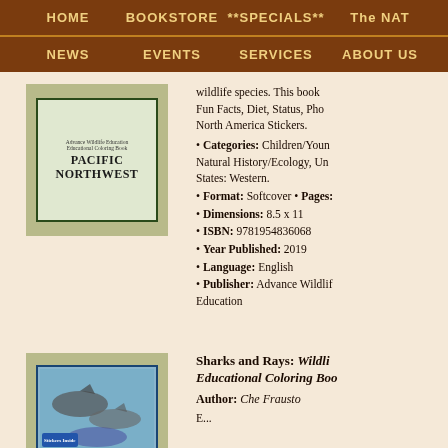HOME   BOOKSTORE   **SPECIALS**   The NAT
NEWS   EVENTS   SERVICES   ABOUT US
[Figure (illustration): Book cover: Pacific Northwest Educational Coloring Book by Advance Wildlife Education, showing bear, birds, and other wildlife with decorative border]
wildlife species. This book includes Fun Facts, Diet, Status, Photos, North America Stickers.
Categories: Children/Young Adult, Natural History/Ecology, United States: Western.
Format: Softcover • Pages: [cut off]
Dimensions: 8.5 x 11
ISBN: 9781954836068
Year Published: 2019
Language: English
Publisher: Advance Wildlife Education
[Figure (illustration): Book cover: Sharks and Rays Wildlife Educational Coloring Book, showing sharks and rays with blue background, Stickers Inside tag]
Sharks and Rays: Wildlife Educational Coloring Book
Author: Che Frausto